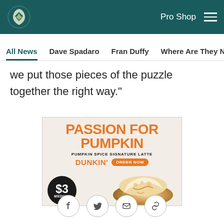Eagles Pro Shop
All News | Dave Spadaro | Fran Duffy | Where Are They Now? | Pu...
we put those pieces of the puzzle together the right way."
[Figure (photo): Dunkin' advertisement: PASSION FOR PUMPKIN - Pumpkin Spice Signature Latte. Dunkin' logo with ORDER NOW button. $3 Medium price circle with pumpkin spice latte image. Fine print: Participation may vary. Dairy alternatives, espresso shots, flavors and cold foam.]
Social share icons: Facebook, Twitter, Email, Link